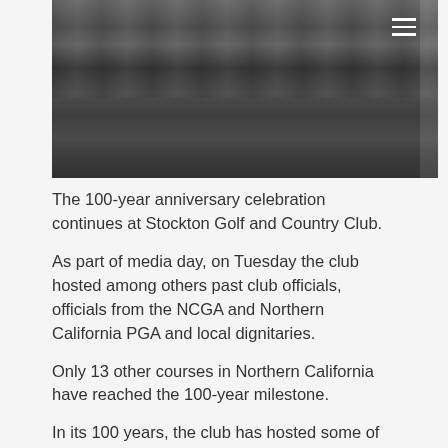[Figure (photo): Black and white historical photograph showing vintage automobiles parked in front of a building with trees in the background, at Stockton Golf and Country Club.]
The 100-year anniversary celebration continues at Stockton Golf and Country Club.
As part of media day, on Tuesday the club hosted among others past club officials, officials from the NCGA and Northern California PGA and local dignitaries.
Only 13 other courses in Northern California have reached the 100-year milestone.
In its 100 years, the club has hosted some of golf's greatest names.
Walter Hagen, whose 11 major wins is only surpassed by Tiger Woods and Jack Nicklaus, shot an 80 on the course during an exhibition in 1924.